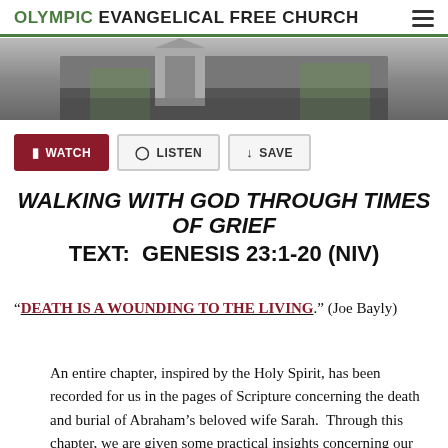OLYMPIC EVANGELICAL FREE CHURCH
[Figure (photo): Black and white photo of a church building exterior with snow and trees]
WATCH  LISTEN  SAVE
WALKING WITH GOD THROUGH TIMES OF GRIEF
TEXT:  GENESIS 23:1-20 (NIV)
“DEATH IS A WOUNDING TO THE LIVING.” (Joe Bayly)
An entire chapter, inspired by the Holy Spirit, has been recorded for us in the pages of Scripture concerning the death and burial of Abraham’s beloved wife Sarah.  Through this chapter, we are given some practical insights concerning our walk